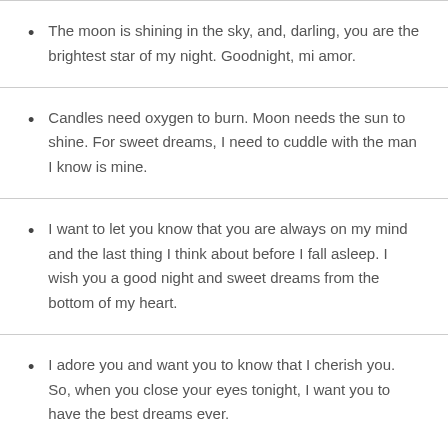The moon is shining in the sky, and, darling, you are the brightest star of my night. Goodnight, mi amor.
Candles need oxygen to burn. Moon needs the sun to shine. For sweet dreams, I need to cuddle with the man I know is mine.
I want to let you know that you are always on my mind and the last thing I think about before I fall asleep. I wish you a good night and sweet dreams from the bottom of my heart.
I adore you and want you to know that I cherish you. So, when you close your eyes tonight, I want you to have the best dreams ever.